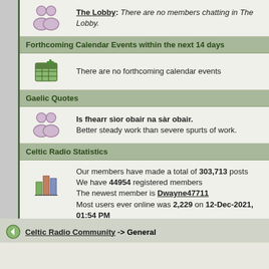The Lobby: There are no members chatting in The Lobby.
Forthcoming Calendar Events within the next 14 days
There are no forthcoming calendar events
Gaelic Quotes
Is fhearr sìor obair na sàr obair. Better steady work than severe spurts of work.
Celtic Radio Statistics
Our members have made a total of 303,713 posts
We have 44954 registered members
The newest member is Dwayne47711
Most users ever online was 2,229 on 12-Dec-2021, 01:54 PM
Tell a Friend about Celtic Radio!
Recipient Email:   Your Name: Guest
Celtic Radio Community -> General